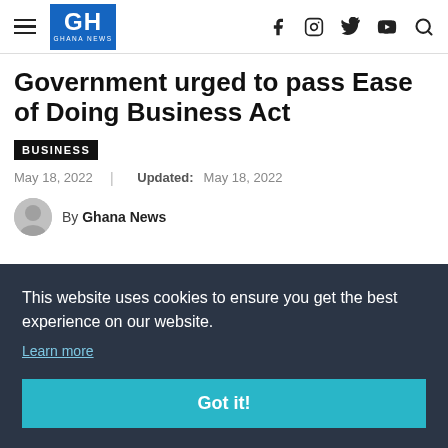GH GHANA NEWS
Government urged to pass Ease of Doing Business Act
BUSINESS
May 18, 2022  |  Updated: May 18, 2022
By Ghana News
This website uses cookies to ensure you get the best experience on our website.
Learn more
Got it!